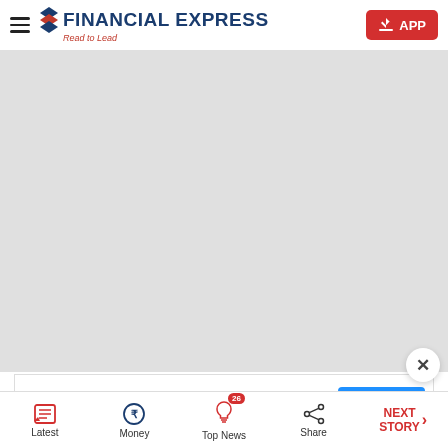Financial Express - Read to Lead
[Figure (photo): Large gray placeholder image area below the header]
[Figure (screenshot): Advertisement banner: Outsourcing Software with SEE MORE button]
Latest | Money | Top News 26 | Share | NEXT STORY